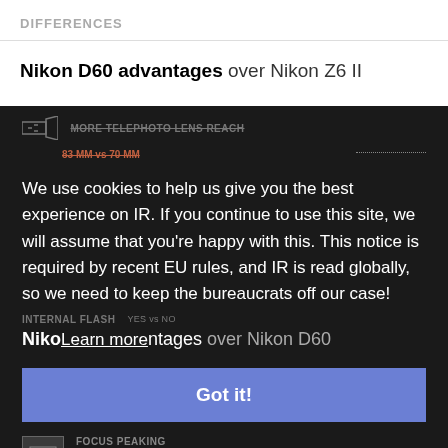DIFFERENCES
Nikon D60 advantages over Nikon Z6 II
[Figure (screenshot): Dark overlay with cookie consent notice on a camera comparison website. Shows 'MORE TELEPHOTO LENS REACH 83 MM vs 70 MM' in background, cookie notice text, 'INTERNAL FLASH' label, 'Nikon Z6 II advantages over Nikon D60' heading, a blue 'Got it!' button, and 'FOCUS PEAKING PEAKER vs NON-PEAKER' row with caption 'Your camera will highlight what's in focus']
We use cookies to help us give you the best experience on IR. If you continue to use this site, we will assume that you're happy with this. This notice is required by recent EU rules, and IR is read globally, so we need to keep the bureaucrats off our case!
Learn more
Got it!
Your camera will highlight what's in focus